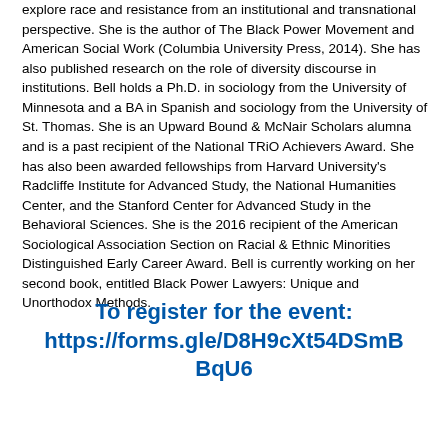explore race and resistance from an institutional and transnational perspective. She is the author of The Black Power Movement and American Social Work (Columbia University Press, 2014). She has also published research on the role of diversity discourse in institutions. Bell holds a Ph.D. in sociology from the University of Minnesota and a BA in Spanish and sociology from the University of St. Thomas. She is an Upward Bound & McNair Scholars alumna and is a past recipient of the National TRiO Achievers Award. She has also been awarded fellowships from Harvard University's Radcliffe Institute for Advanced Study, the National Humanities Center, and the Stanford Center for Advanced Study in the Behavioral Sciences. She is the 2016 recipient of the American Sociological Association Section on Racial & Ethnic Minorities Distinguished Early Career Award. Bell is currently working on her second book, entitled Black Power Lawyers: Unique and Unorthodox Methods.
To register for the event: https://forms.gle/D8H9cXt54DSmBBqU6